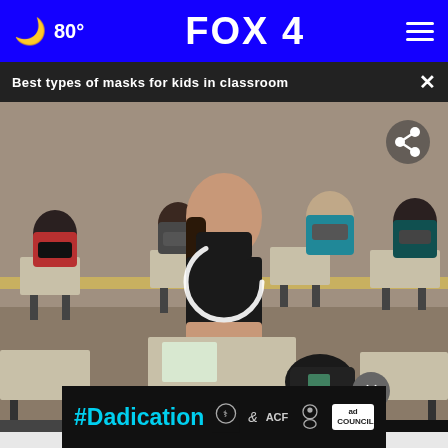FOX 4  80°
Best types of masks for kids in classroom
[Figure (photo): Students wearing face masks sitting at school desks in a classroom, with a video player overlay showing a loading spinner and a share icon in the top right]
#Dadication — Ad Council advertisement banner with HHS, ACF, and National Responsible Fatherhood Clearinghouse logos